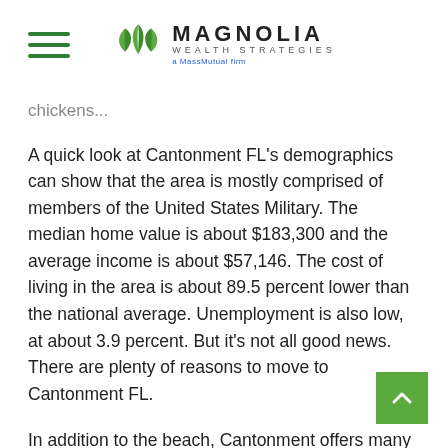Magnolia Wealth Strategies — a MassMutual firm
chickens...
A quick look at Cantonment FL's demographics can show that the area is mostly comprised of members of the United States Military. The median home value is about $183,300 and the average income is about $57,146. The cost of living in the area is about 89.5 percent lower than the national average. Unemployment is also low, at about 3.9 percent. But it's not all good news. There are plenty of reasons to move to Cantonment FL.
In addition to the beach, Cantonment offers many recreational activities. The town's historic landmarks and military heritage make it an attractive place for people to live. Year-round